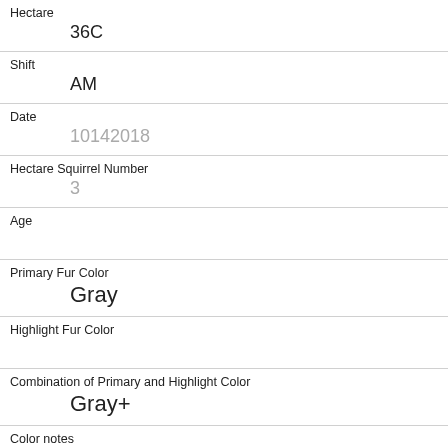Hectare
36C
Shift
AM
Date
10142018
Hectare Squirrel Number
3
Age
Primary Fur Color
Gray
Highlight Fur Color
Combination of Primary and Highlight Color
Gray+
Color notes
Location
Ground Plane
Above Ground Sighter Measurement